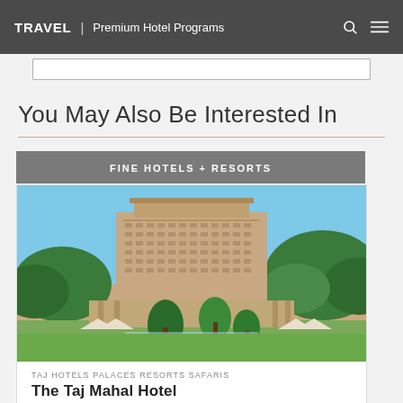TRAVEL | Premium Hotel Programs
You May Also Be Interested In
FINE HOTELS + RESORTS
[Figure (photo): Exterior photo of The Taj Mahal Hotel — a large multi-storey building with trees and manicured gardens in the foreground, clear blue sky above.]
TAJ HOTELS PALACES RESORTS SAFARIS
The Taj Mahal Hotel